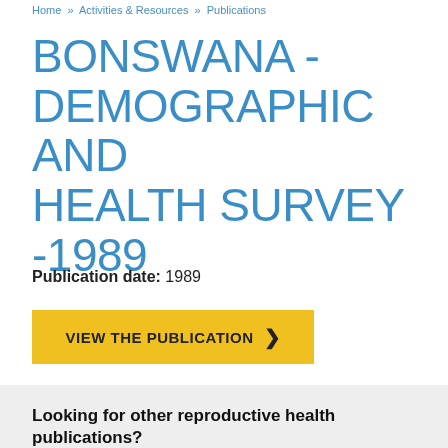Home » Activities & Resources » Publications
BONSWANA - DEMOGRAPHIC AND HEALTH SURVEY -1989
Publication date: 1989
VIEW THE PUBLICATION >
Looking for other reproductive health publications?
The Supplies Information Database (SID) is an